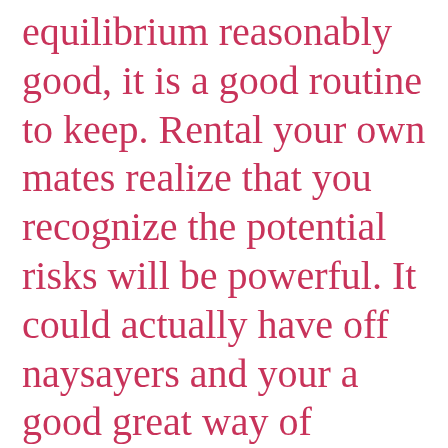equilibrium reasonably good, it is a good routine to keep. Rental your own mates realize that you recognize the potential risks will be powerful. It could actually have off naysayers and your a good great way of demonstrating these in which it’s all exclusively for pleasurable too.